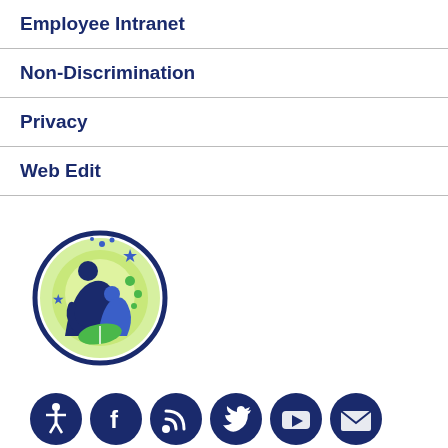Employee Intranet
Non-Discrimination
Privacy
Web Edit
[Figure (logo): Wisconsin Department of Public Instruction logo: blue circle with adult reading to child, green circular border, stars]
[Figure (infographic): Row of 7 dark blue circular social media icons: accessible, Facebook, RSS, Twitter, YouTube, email, .gov]
Wisconsin Department of Public Instruction
Jill K. Underly, PhD, State Superintendent
125 S. Webster Street • Madison, WI 53703